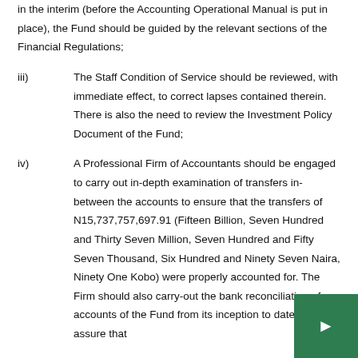in the interim (before the Accounting Operational Manual is put in place), the Fund should be guided by the relevant sections of the Financial Regulations;
iii)	The Staff Condition of Service should be reviewed, with immediate effect, to correct lapses contained therein. There is also the need to review the Investment Policy Document of the Fund;
iv)	A Professional Firm of Accountants should be engaged to carry out in-depth examination of transfers in-between the accounts to ensure that the transfers of N15,737,757,697.91 (Fifteen Billion, Seven Hundred and Thirty Seven Million, Seven Hundred and Fifty Seven Thousand, Six Hundred and Ninety Seven Naira, Ninety One Kobo) were properly accounted for. The Firm should also carry-out the bank reconciliation of accounts of the Fund from its inception to date to assure that